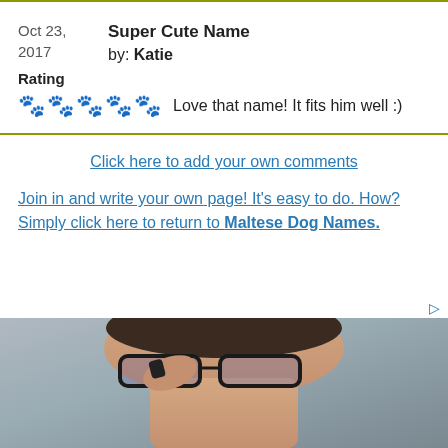Oct 23, 2017 | Super Cute Name by: Katie | Rating | ❧❧❧❧❧ Love that name! It fits him well :)
Click here to add your own comments
Join in and write your own page! It's easy to do. How? Simply click here to return to Maltese Dog Names.
[Figure (photo): Advertisement photo showing a person wearing glasses, looking to the side, holding something near their face. Partial view from forehead to chin.]